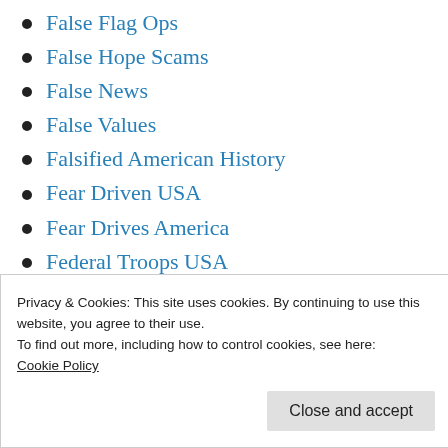False Flag Ops
False Hope Scams
False News
False Values
Falsified American History
Fear Driven USA
Fear Drives America
Federal Troops USA
Fictitious American Values
Financing American Rich
Fire Arms Fairyland
Privacy & Cookies: This site uses cookies. By continuing to use this website, you agree to their use.
To find out more, including how to control cookies, see here: Cookie Policy
Close and accept